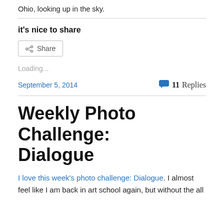Ohio, looking up in the sky.
it's nice to share
Share
Loading...
September 5, 2014
11 Replies
Weekly Photo Challenge: Dialogue
I love this week's photo challenge: Dialogue. I almost feel like I am back in art school again, but without the all